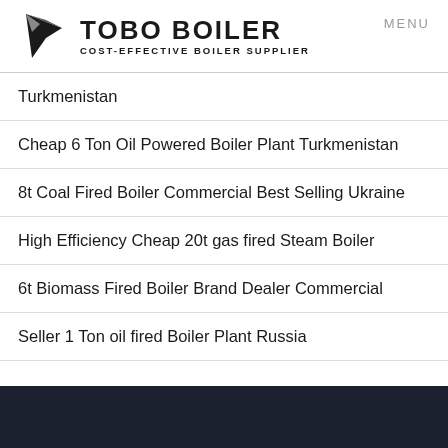[Figure (logo): TOBO BOILER logo with geometric kite/flag icon and text 'COST-EFFECTIVE BOILER SUPPLIER']
Turkmenistan
Cheap 6 Ton Oil Powered Boiler Plant Turkmenistan
8t Coal Fired Boiler Commercial Best Selling Ukraine
High Efficiency Cheap 20t gas fired Steam Boiler
6t Biomass Fired Boiler Brand Dealer Commercial
Seller 1 Ton oil fired Boiler Plant Russia